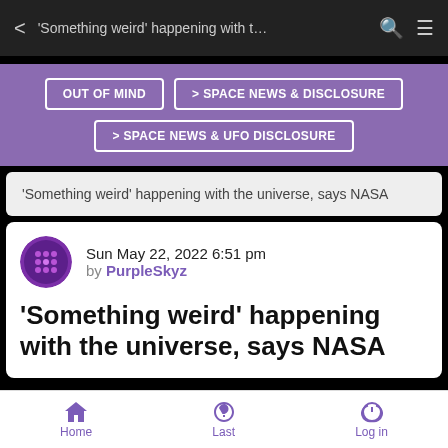< 'Something weird' happening with t… 🔍 ≡
OUT OF MIND  > SPACE NEWS & DISCLOSURE  > SPACE NEWS & UFO DISCLOSURE
'Something weird' happening with the universe, says NASA
Sun May 22, 2022 6:51 pm
by PurpleSkyz
'Something weird' happening with the universe, says NASA
Home  Last  Log in